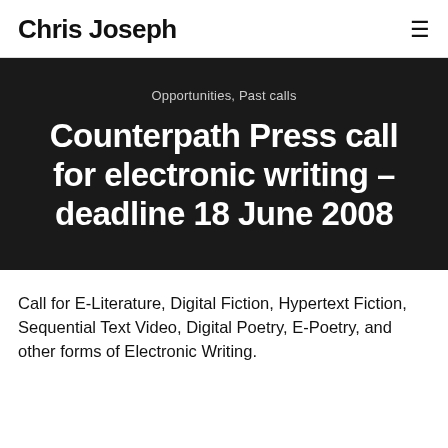Chris Joseph
Opportunities, Past calls
Counterpath Press call for electronic writing – deadline 18 June 2008
Call for E-Literature, Digital Fiction, Hypertext Fiction, Sequential Text Video, Digital Poetry, E-Poetry, and other forms of Electronic Writing.